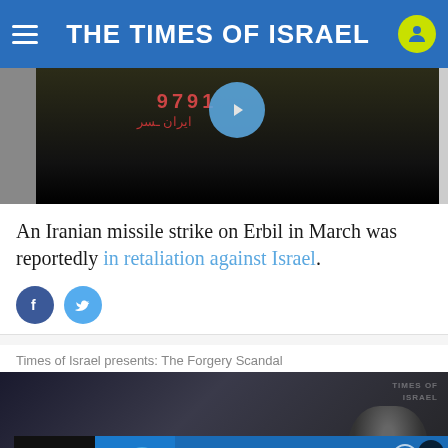THE TIMES OF ISRAEL
[Figure (photo): Dark video still showing Arabic text in red/orange characters on a surface, with a blue play button circle overlay in the center]
An Iranian missile strike on Erbil in March was reportedly in retaliation against Israel.
[Figure (screenshot): Social sharing buttons: Facebook (blue circle with f) and Twitter (blue circle with bird icon)]
Times of Israel presents: The Forgery Scandal
[Figure (screenshot): Video thumbnail showing a dark background with a person silhouette on the right, Times of Israel watermark top right, and an advertisement banner at the bottom for NioCorp North American Critical Minerals with Investor Details button]